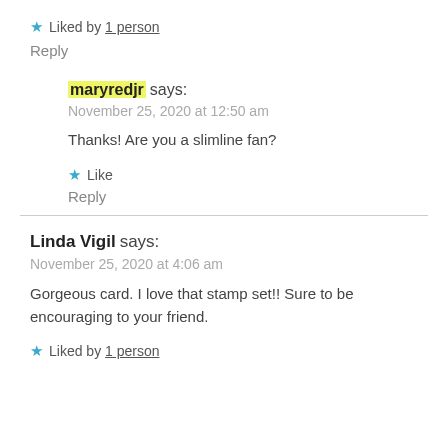★ Liked by 1 person
Reply
maryredjr says:
November 25, 2020 at 12:50 am
Thanks! Are you a slimline fan?
★ Like
Reply
Linda Vigil says:
November 25, 2020 at 4:06 am
Gorgeous card. I love that stamp set!! Sure to be encouraging to your friend.
★ Liked by 1 person